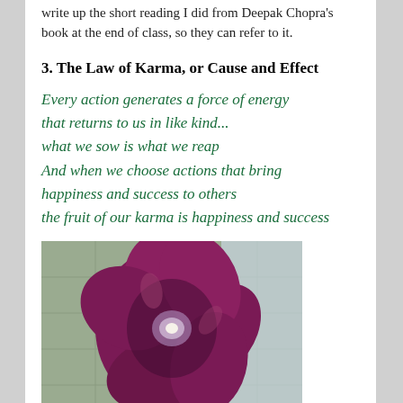write up the short reading I did from Deepak Chopra's book at the end of class, so they can refer to it.
3. The Law of Karma, or Cause and Effect
Every action generates a force of energy that returns to us in like kind...
what we sow is what we reap
And when we choose actions that bring happiness and success to others
the fruit of our karma is happiness and success
[Figure (photo): A close-up photograph of a dark purple/magenta tulip flower with a white center, viewed from above.]